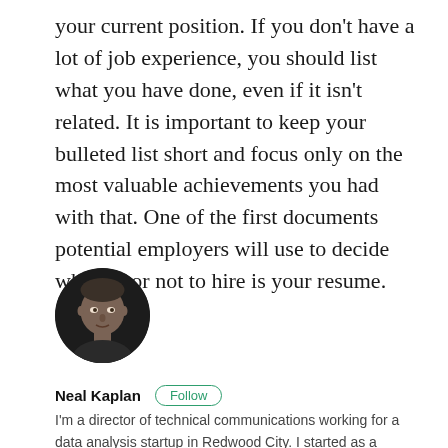your current position. If you don't have a lot of job experience, you should list what you have done, even if it isn't related. It is important to keep your bulleted list short and focus only on the most valuable achievements you had with that. One of the first documents potential employers will use to decide whether or not to hire is your resume.
[Figure (photo): Circular profile photo of a middle-aged man with a serious expression, dark background]
Neal Kaplan  Follow
I'm a director of technical communications working for a data analysis startup in Redwood City. I started as a technical writer, and since then I've also been learning about